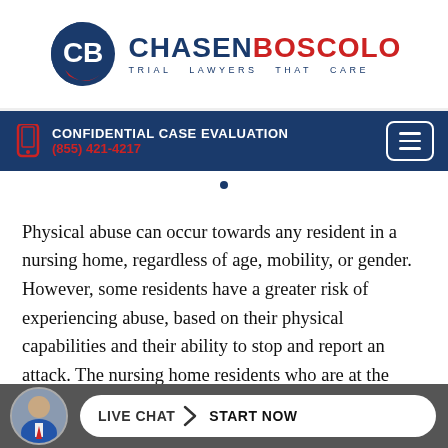[Figure (logo): ChasenBoscolo Trial Lawyers That Care logo with circular CB emblem in blue and red]
CONFIDENTIAL CASE EVALUATION
(855) 421-4217
Physical abuse can occur towards any resident in a nursing home, regardless of age, mobility, or gender. However, some residents have a greater risk of experiencing abuse, based on their physical capabilities and their ability to stop and report an attack. The nursing home residents who are at the high... of
[Figure (infographic): Bottom bar with attorney avatar photo circle and LIVE CHAT > START NOW pill button]